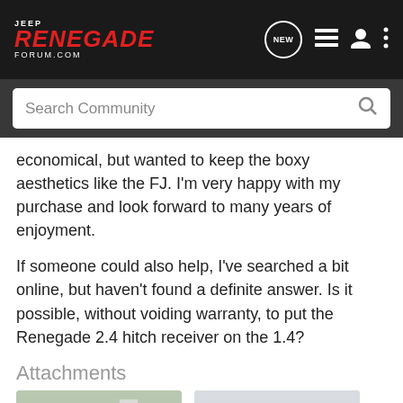Jeep Renegade Forum
economical, but wanted to keep the boxy aesthetics like the FJ. I'm very happy with my purchase and look forward to many years of enjoyment.
If someone could also help, I've searched a bit online, but haven't found a definite answer. Is it possible, without voiding warranty, to put the Renegade 2.4 hitch receiver on the 1.4?
Attachments
[Figure (photo): Two Jeep Renegades parked in a parking lot, front view, outdoors near a Honda dealership]
image_1459562640...
[Figure (photo): Side view of a Jeep Renegade in a dealership lot, tan/beige color with black wheels]
image_1459562685...